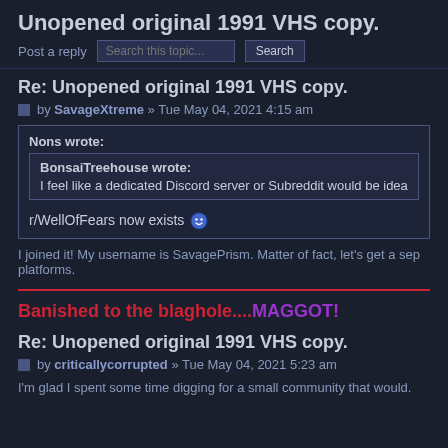Unopened original 1991 VHS copy.
Post a reply
Re: Unopened original 1991 VHS copy.
by SavageXtreme » Tue May 04, 2021 4:15 am
Nons wrote:
BonsaiTreehouse wrote:
I feel like a dedicated Discord server or Subreddit would be idea
r/WellOfFears now exists 😀
I joined it! My username is SavagePrism. Matter of fact, let's get a sep platforms.
Banished to the blaghole....MAGGOT!
Re: Unopened original 1991 VHS copy.
by criticallycorrupted » Tue May 04, 2021 5:23 am
I'm glad I spent some time digging for a small community that would.